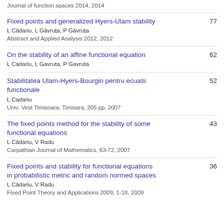Journal of function spaces 2014, 2014
Fixed points and generalized Hyers-Ulam stability
L Cādariu, L Gāvruța, P Gāvruța
Abstract and Applied Analysis 2012, 2012
77
On the stability of an affine functional equation
L Cadariu, L Gavruta, P Gavruta
62
Stabilitatea Ulam-Hyers-Bourgin pentru ecuatii functionale
L Cadariu
Univ. Vest Timisoara, Timisara, 205 pp, 2007
52
The fixed points method for the stability of some functional equations
L Cādariu, V Radu
Carpathian Journal of Mathematics, 63-72, 2007
43
Fixed points and stability for functional equations in probabilistic metric and random normed spaces
L Cādariu, V Radu
Fixed Point Theory and Applications 2009, 1-18, 2009
36